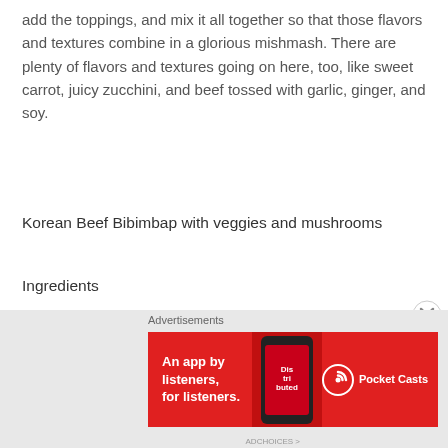add the toppings, and mix it all together so that those flavors and textures combine in a glorious mishmash. There are plenty of flavors and textures going on here, too, like sweet carrot, juicy zucchini, and beef tossed with garlic, ginger, and soy.
Korean Beef Bibimbap with veggies and mushrooms
Ingredients
2 Zucchini
4 scallions
8 oz button mushrooms
12 oz carrots
4 garlic cloves
1.5 C. Jasmine or cauliflower rice
[Figure (other): Advertisement banner: Pocket Casts app ad with red background, phone image, and text 'An app by listeners, for listeners.']